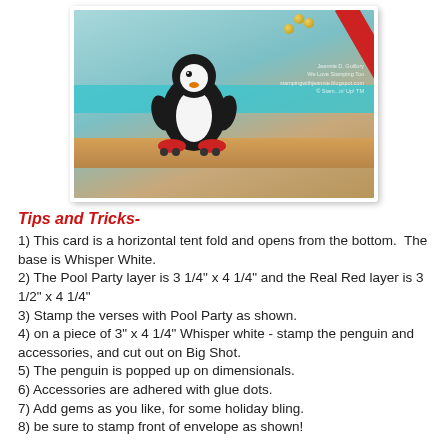[Figure (photo): Close-up photo of a handmade card featuring a penguin wearing roller skates on a teal/Pool Party background with a red diagonal stripe and gold pins at top, placed on a wooden surface.]
Tips and Tricks-
1) This card is a horizontal tent fold and opens from the bottom.  The base is Whisper White.
2) The Pool Party layer is 3 1/4" x 4 1/4" and the Real Red layer is 3 1/2" x 4 1/4"
3) Stamp the verses with Pool Party as shown.
4) on a piece of 3" x 4 1/4" Whisper white - stamp the penguin and accessories, and cut out on Big Shot.
5) The penguin is popped up on dimensionals.
6) Accessories are adhered with glue dots.
7) Add gems as you like, for some holiday bling.
8) be sure to stamp front of envelope as shown!